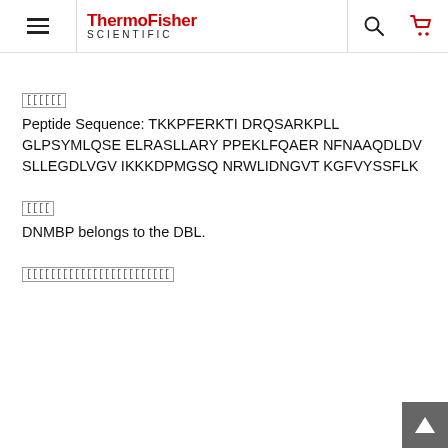ThermoFisher Scientific
[garbled text - Peptide Sequence label]
Peptide Sequence: TKKPFERKTI DRQSARKPLL GLPSYMLQSE ELRASLLARY PPEKLFQAER NFNAAQDLDV SLLEGDLVGV IKKKDPMGSQ NRWLIDNGVT KGFVYSSFLK
[garbled text - Description label]
DNMBP belongs to the DBL.
[garbled text - long label]